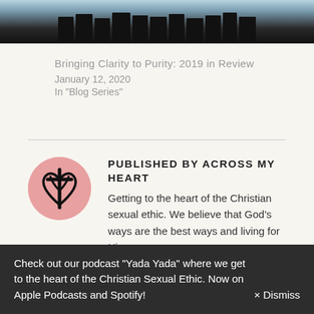[Figure (photo): Partial view of a group of people standing outdoors, cropped at the top showing legs and lower bodies in jeans, with a light blue sky background.]
Bringing Clarity to Purity: 2019 in Review
January 12, 2020
In "Blog Series"
[Figure (logo): Circular pink logo with a stylized heart and cross symbol in black, representing 'Across My Heart' ministry.]
PUBLISHED BY ACROSS MY HEART
Getting to the heart of the Christian sexual ethic. We believe that God's ways are the best ways and living for Him
Check out our podcast "Yada Yada" where we get to the heart of the Christian Sexual Ethic. Now on Apple Podcasts and Spotify!